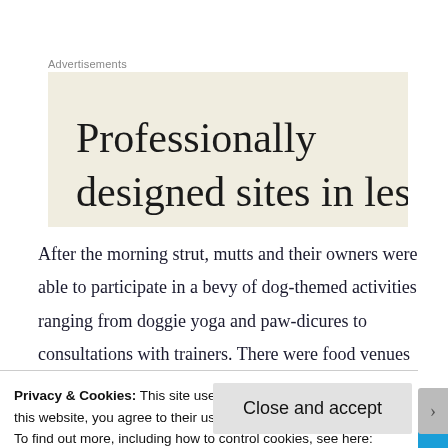Advertisements
[Figure (other): Advertisement banner with beige/cream background showing text 'Professionally designed sites in less']
After the morning strut, mutts and their owners were able to participate in a bevy of dog-themed activities ranging from doggie yoga and paw-dicures to consultations with trainers. There were food venues
Privacy & Cookies: This site uses cookies. By continuing to use this website, you agree to their use.
To find out more, including how to control cookies, see here: Cookie Policy
Close and accept